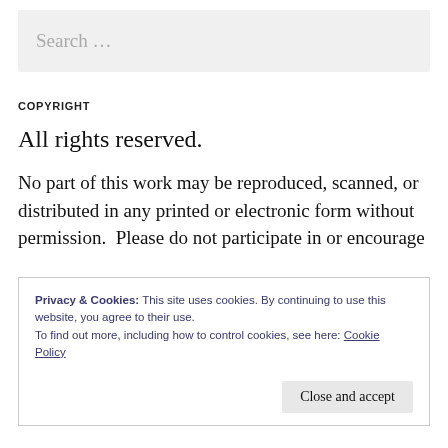Search ...
COPYRIGHT
All rights reserved.
No part of this work may be reproduced, scanned, or distributed in any printed or electronic form without permission.  Please do not participate in or encourage
Privacy & Cookies: This site uses cookies. By continuing to use this website, you agree to their use.
To find out more, including how to control cookies, see here: Cookie Policy
Close and accept